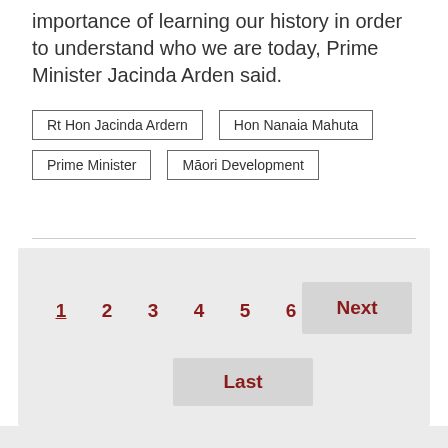importance of learning our history in order to understand who we are today, Prime Minister Jacinda Arden said.
Rt Hon Jacinda Ardern | Hon Nanaia Mahuta | Prime Minister | Māori Development
1  2  3  4  5  6  Next  Last
Content type
Release (133)